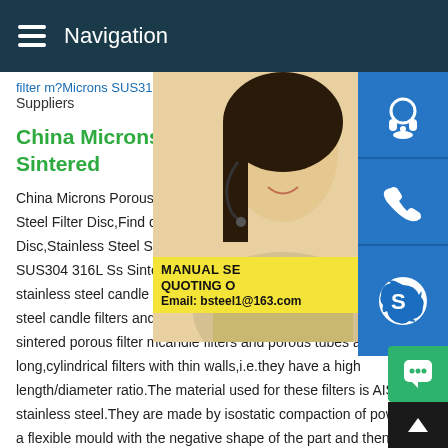Navigation
filter m?Microns SUS316L Sinter Porous S Suppliers
China Microns Porous Metal S Sintered
China Microns Porous Metal SUS304 316 Steel Filter Disc,Find details about China Disc,Stainless Steel Sinter Filter Sisc from SUS304 316L Ss Sintered Stainless Steel stainless steel candle filters and porous tu steel candle filters and porous tubes.AmesPore sus 316l micorns sintered porous filter mcandle filters and porous tubes are long,cylindrical filters with thin walls,i.e.they have a high length/diameter ratio.The material used for these filters is AISI stainless steel.They are made by isostatic compaction of pow a flexible mould with the negative shape of the part and then
[Figure (photo): Woman with headset microphone, customer service representative]
MANUAL SE QUOTING O Email: bsteel1@163.com